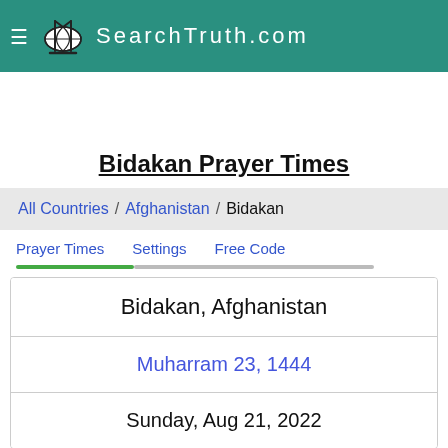SearchTruth.com
Bidakan Prayer Times
All Countries / Afghanistan / Bidakan
Prayer Times   Settings   Free Code
Bidakan, Afghanistan
Muharram 23, 1444
Sunday, Aug 21, 2022